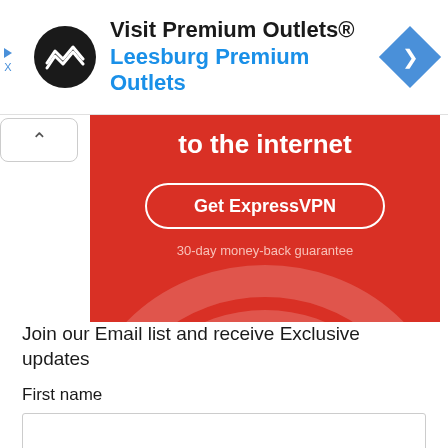[Figure (advertisement): Visit Premium Outlets® ad banner with circular logo, Leesburg Premium Outlets in blue text, and blue navigation diamond icon]
[Figure (advertisement): ExpressVPN advertisement on red background showing 'to the internet', 'Get ExpressVPN' button, and '30-day money-back guarantee' text with concentric arc design]
Join our Email list and receive Exclusive updates
First name
E-mail *